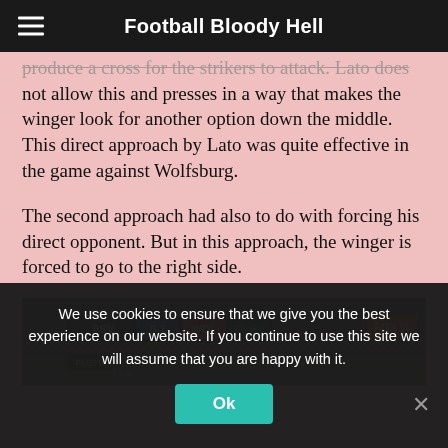Football Bloody Hell
produce a cross for the strikers to attack. Lato does not allow this and presses in a way that makes the winger look for another option down the middle. This direct approach by Lato was quite effective in the game against Wolfsburg.
The second approach had also to do with forcing his direct opponent. But in this approach, the winger is forced to go to the right side.
[Figure (screenshot): Screenshot of football match video: PSV 0-1 WOL at 08:53, shown on FOX. Stadium crowd visible in background.]
We use cookies to ensure that we give you the best experience on our website. If you continue to use this site we will assume that you are happy with it.